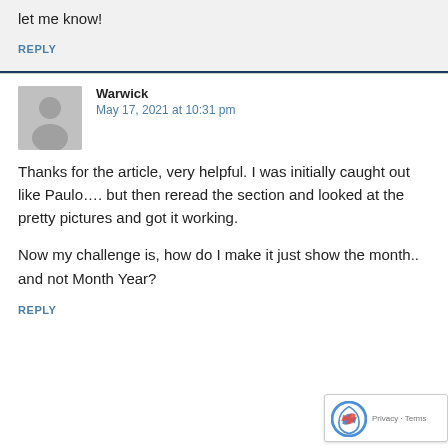let me know!
REPLY
[Figure (illustration): Generic grey avatar/silhouette placeholder image for a user profile]
Warwick
May 17, 2021 at 10:31 pm
Thanks for the article, very helpful. I was initially caught out like Paulo.... but then reread the section and looked at the pretty pictures and got it working.
Now my challenge is, how do I make it just show the month.. and not Month Year?
REPLY